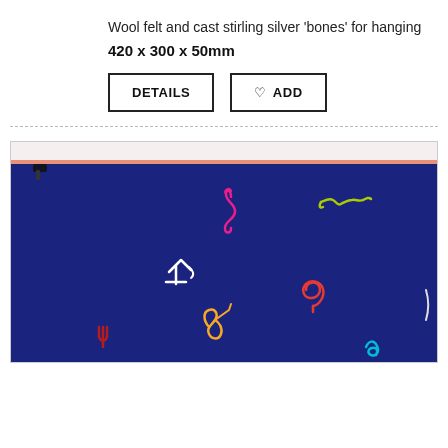Wool felt and cast stirling silver ‘bones’ for hanging
420 x 300 x 50mm
[Figure (photo): A dark navy blue felt panel hung on a wall with colorful cast sterling silver wire figures/bones placed on it, showing abstract shapes in pink, yellow-green, white, red, teal, yellow, and dark red against the navy background.]